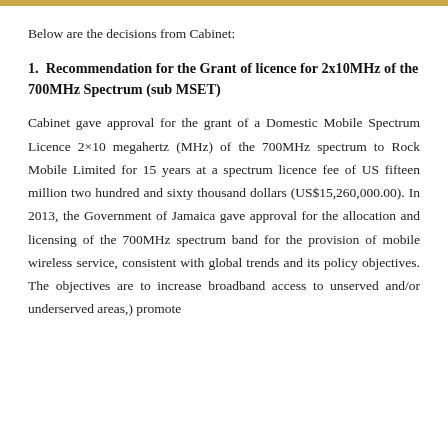Below are the decisions from Cabinet:
1. Recommendation for the Grant of licence for 2x10MHz of the 700MHz Spectrum (sub MSET)
Cabinet gave approval for the grant of a Domestic Mobile Spectrum Licence 2×10 megahertz (MHz) of the 700MHz spectrum to Rock Mobile Limited for 15 years at a spectrum licence fee of US fifteen million two hundred and sixty thousand dollars (US$15,260,000.00). In 2013, the Government of Jamaica gave approval for the allocation and licensing of the 700MHz spectrum band for the provision of mobile wireless service, consistent with global trends and its policy objectives. The objectives are to increase broadband access to unserved and/or underserved areas,) promote